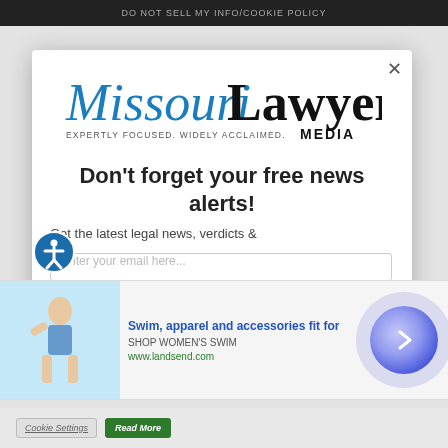DO NOT SELL MY INFO/COOKIE POLICY
[Figure (logo): Missouri Lawyers Media logo — 'Missouri' in blue italic serif, 'Lawyers' in black bold serif, 'MEDIA' in black, tagline 'EXPERTLY FOCUSED. WIDELY ACCLAIMED.']
Don't forget your free news alerts!
Get the latest legal news, verdicts &
Enter your email here...
SIGN UP FOR FREE
[Figure (infographic): Advertisement banner: woman in swimsuit on blue background, text 'Swim, apparel and accessories fit for', 'SHOP WOMEN'S SWIM', 'www.landsend.com', navigation arrow button on right]
Cookie Settings
Read More